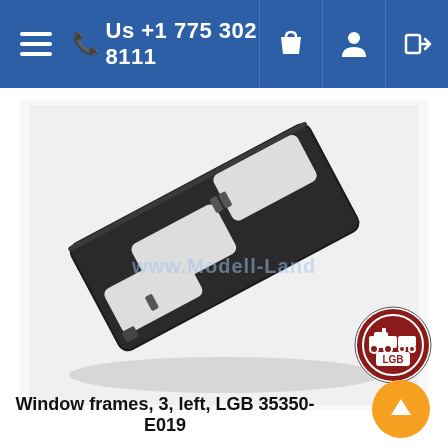Us +1 775 302 8111
[Figure (photo): Black plastic window frame part for model train, with 3 rectangular openings, LGB 35350-E019, shown at a perspective angle. Watermark text 'www.Modell-Land' visible on image.]
[Figure (logo): LGB brand logo: circular badge with dark red border, white train silhouette, and 'LGB' text in a rectangular badge at the center.]
Window frames, 3, left, LGB 35350-E019